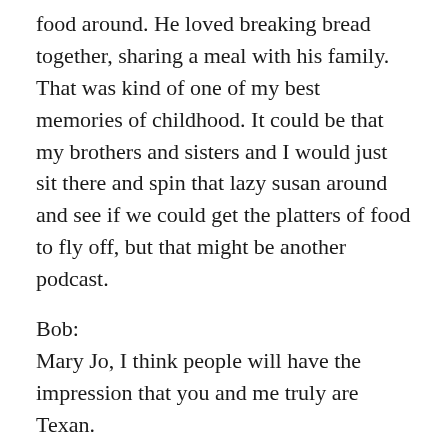food around. He loved breaking bread together, sharing a meal with his family. That was kind of one of my best memories of childhood. It could be that my brothers and sisters and I would just sit there and spin that lazy susan around and see if we could get the platters of food to fly off, but that might be another podcast.
Bob:
Mary Jo, I think people will have the impression that you and me truly are Texan.
Mary Jo:
Absolutely. To the core.
Bob:
These things are so important to write down because it's so important that generations from now know so much more than just a monetary